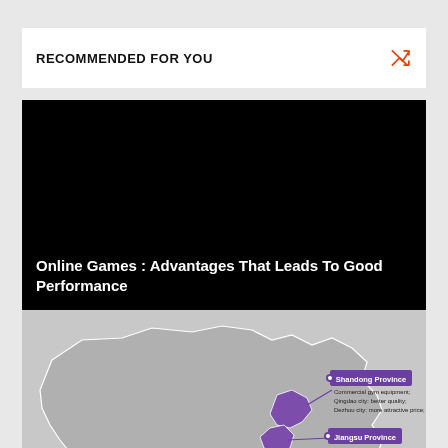RECOMMENDED FOR YOU
[Figure (screenshot): Black thumbnail image for article about Online Games]
Online Games : Advantages That Leads To Good Performance
[Figure (map): Map of China showing gym equipment manufacturing provinces: Shandong Province (Commercial gym equipment; Qingdao city: better quality; Dezhou city: more attractive price), Jiangsu Province (Fitness accessories; a small number of commercial equipment), Zhejiang Province]
Top 10 Gym Equipment Manufacturers in China 【2020】